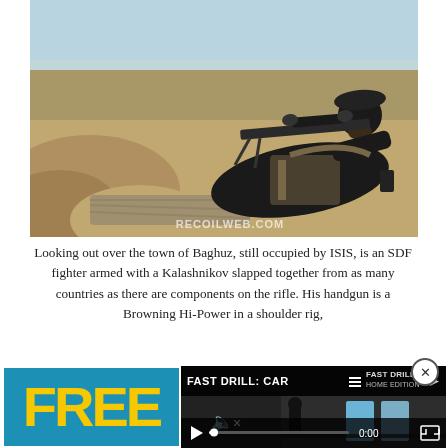[Figure (photo): A soldier/fighter in black clothing and tactical vest, lying prone behind rocks and aiming a rifle with a scope mounted on a bipod, overlooking a desert landscape with the town of Baghuz visible in the distance. Watermark reads RECOILWEB.COM.]
Looking out over the town of Baghuz, still occupied by ISIS, is an SDF fighter armed with a Kalashnikov slapped together from as many countries as there are components on the rifle. His handgun is a Browning Hi-Power in a shoulder rig,
[Figure (screenshot): A video overlay thumbnail showing 'FAST DRILL: CAR...' title text, with a dark scene of a shooting range and two blue target silhouettes on the right. Video controls show play button, progress bar, and 0:00 timestamp. A mute icon with X is visible. Close button (x) in top right corner.]
[Figure (infographic): Advertisement banner with teal/blue background showing the word FREE in large bold yellow letters.]